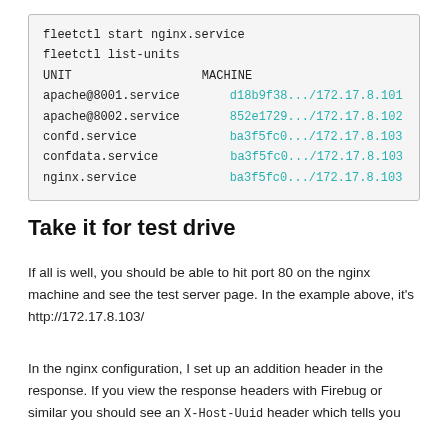fleetctl start nginx.service
fleetctl list-units
UNIT                    MACHINE
apache@8001.service     d18b9f38.../172.17.8.101
apache@8002.service     852e1729.../172.17.8.102
confd.service           ba3f5fc0.../172.17.8.103
confdata.service        ba3f5fc0.../172.17.8.103
nginx.service           ba3f5fc0.../172.17.8.103
Take it for test drive
If all is well, you should be able to hit port 80 on the nginx machine and see the test server page. In the example above, it's http://172.17.8.103/
In the nginx configuration, I set up an addition header in the response. If you view the response headers with Firebug or similar you should see an X-Host-Uuid header which tells you